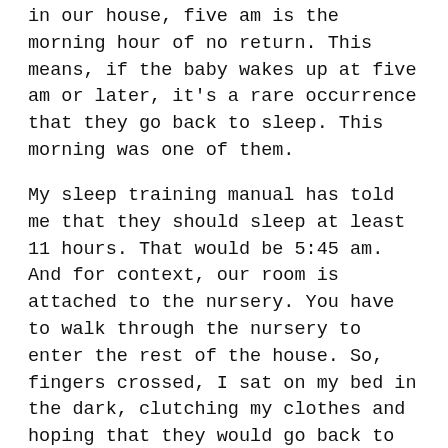in our house, five am is the morning hour of no return. This means, if the baby wakes up at five am or later, it's a rare occurrence that they go back to sleep. This morning was one of them.
My sleep training manual has told me that they should sleep at least 11 hours. That would be 5:45 am. And for context, our room is attached to the nursery. You have to walk through the nursery to enter the rest of the house. So, fingers crossed, I sat on my bed in the dark, clutching my clothes and hoping that they would go back to sleep. They didn't. So, I listened to them fuss for nearly 45 minutes before I got up, got them, and started my day... much earlier than usual.
I was so frustrated in those 45 minutes. Mad at the dog. At myself for thinking I could get up and not wake them. For not bringing my writing stuff into the bedroom as back-up. For not just sleeping to six when they normally wake.